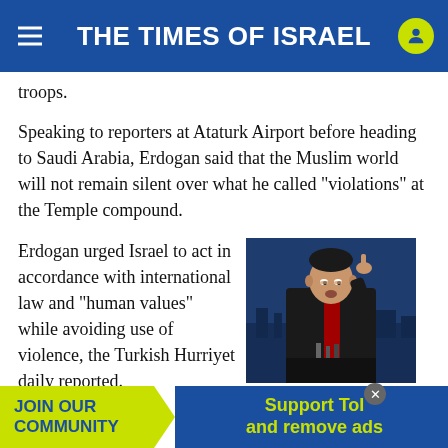THE TIMES OF ISRAEL
troops.
Speaking to reporters at Ataturk Airport before heading to Saudi Arabia, Erdogan said that the Muslim world will not remain silent over what he called “violations” at the Temple compound.
Erdogan urged Israel to act in accordance with international law and “human values” while avoiding use of violence, the Turkish Hurriyet daily reported.
[Figure (photo): Turkey's President Recep Tayyip Erdogan pointing with one finger, standing at a podium, with a dark blue cityscape background.]
Turkey's President Recep Tayyip Erdogan addresses a press conference at the G20 Summit in 2017. (Baz Ratner/Reuters)